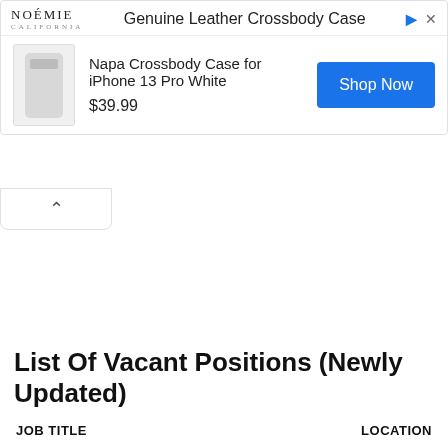[Figure (screenshot): Advertisement banner for NOÉMIE brand showing 'Genuine Leather Crossbody Case' with product image of Napa Crossbody Case for iPhone 13 Pro White priced at $39.99 and a blue 'Shop Now' button]
List Of Vacant Positions (Newly Updated)
| JOB TITLE | LOCATION |
| --- | --- |